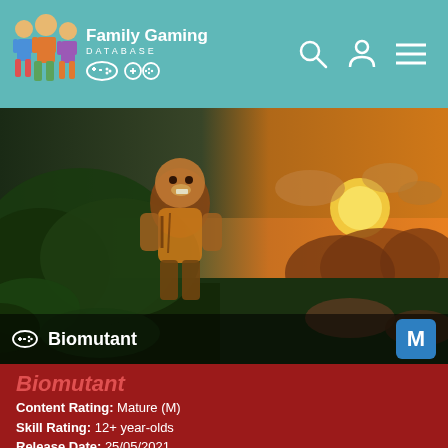Family Gaming DATABASE
[Figure (screenshot): Game screenshot of Biomutant showing an anthropomorphic raccoon/fox warrior character in lush jungle environment on the left, and a dramatic sunset landscape with orange sky on the right. Bottom bar shows game controller icon and title 'Biomutant' with an M (Mature) rating badge in blue.]
Biomutant
Content Rating: Mature (M)
Skill Rating: 12+ year-olds
Release Date: 25/05/2021
Platforms: PC, PS4, PS5, Xbox One and Xbox Series X|S
Genres: Action, Adventure, Fighting, Open World, Role-Play and Simulation
Accessibility: 29 features